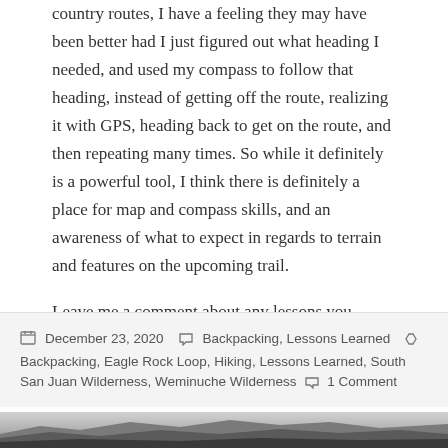country routes, I have a feeling they may have been better had I just figured out what heading I needed, and used my compass to follow that heading, instead of getting off the route, realizing it with GPS, heading back to get on the route, and then repeating many times. So while it definitely is a powerful tool, I think there is definitely a place for map and compass skills, and an awareness of what to expect in regards to terrain and features on the upcoming trail.
Leave me a comment about any lessons you learned on the trail this year!
December 23, 2020  Backpacking, Lessons Learned  Backpacking, Eagle Rock Loop, Hiking, Lessons Learned, South San Juan Wilderness, Weminuche Wilderness  1 Comment
[Figure (photo): Black and white landscape photo showing mountain ridgelines with hazy valleys below, viewed from an elevated vantage point.]